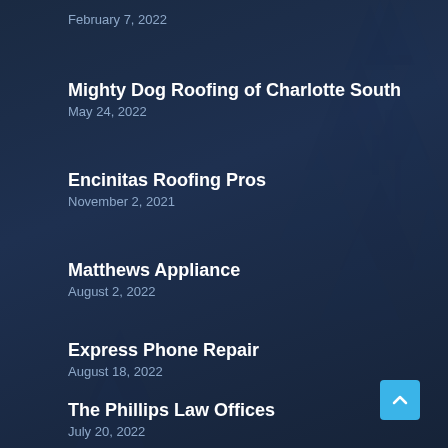February 7, 2022
Mighty Dog Roofing of Charlotte South
May 24, 2022
Encinitas Roofing Pros
November 2, 2021
Matthews Appliance
August 2, 2022
Express Phone Repair
August 18, 2022
The Phillips Law Offices
July 20, 2022